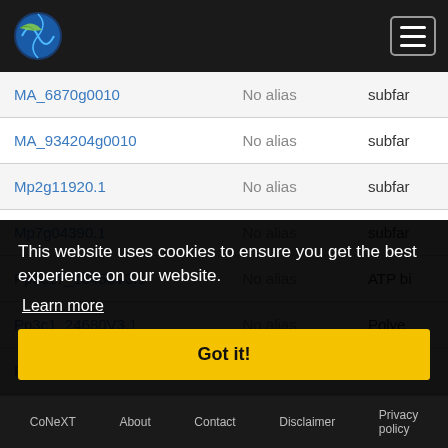CoNeXT navigation header with logo and hamburger menu
| Gene ID | Alias | Description |
| --- | --- | --- |
| MA_6870g0010 | No alias | subfar… |
| MA_934204g0010 | No alias | subfar… |
| Mp2g11920.1 | No alias | subfar… |
| Mp7g04390.1 | No alias | subfar… |
| Pp3c17_16450V3.1 | No alias | ATP bi… |
| Pp3c1_24680V3.1 | No alias | Polye… |
| Pp3c… | No alias | ATP b… |
| Smo230… | No alias | Solute… |
| Smo237633 | No alias | Solute… |
| Smo106… | No alias | Solute… |
This website uses cookies to ensure you get the best experience on our website.
Learn more
Got it!
CoNeXT  About  Contact  Disclaimer  Privacy policy